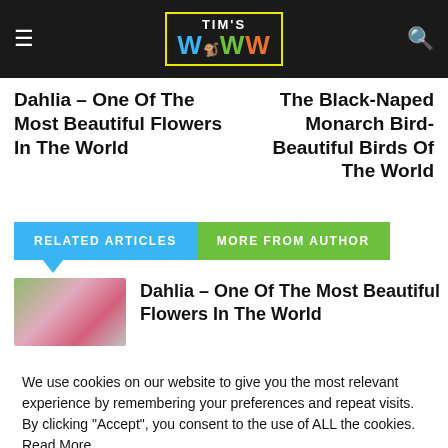TIM'S WWW
Dahlia – One Of The Most Beautiful Flowers In The World
The Black-Naped Monarch Bird- Beautiful Birds Of The World
RELATED ARTICLES    MORE FROM AUTHOR
[Figure (photo): Photo of a pink and white dahlia flower]
Dahlia – One Of The Most Beautiful Flowers In The World
We use cookies on our website to give you the most relevant experience by remembering your preferences and repeat visits. By clicking "Accept", you consent to the use of ALL the cookies. Read More
Do not sell my personal information.